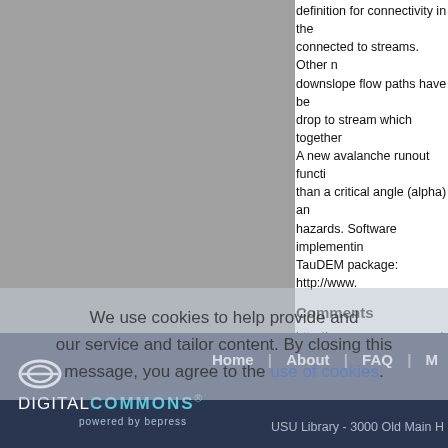definition for connectivity in the connected to streams. Other n downslope flow paths have be drop to stream which together A new avalanche runout functi than a critical angle (alpha) an hazards. Software implementin TauDEM package: http://www.
Comments
http://www.mssanz.org.au/mod
Recommended Citation
Tarboton, D.G., Schreuders, K.A. analysis of digital elevation mode International Congress on Modell Mathematical and Computational https://www.scopus.com/inward/r 80053022985&partnerID=40&md
We use cookies to help provide and our service and tailor content. By closing this message, you agree to the use of cookies.
Home | About | FAQ | M USU Library - 3000 Old Main H